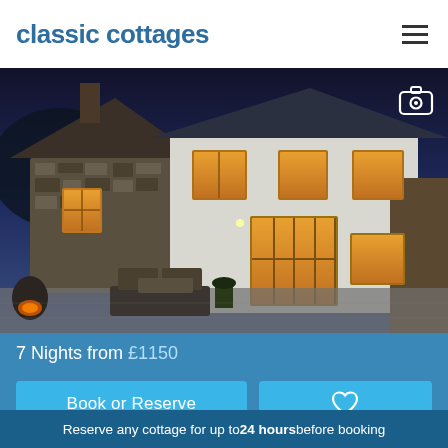classic cottages
[Figure (photo): Exterior night-time photo of a stone and white-rendered British holiday cottage with illuminated windows, bi-fold doors, outdoor garden furniture and fire pit on the patio, dark blue evening sky]
7 Nights from £1150
Book or Reserve
♡
Reserve any cottage for up to 24 hours before booking